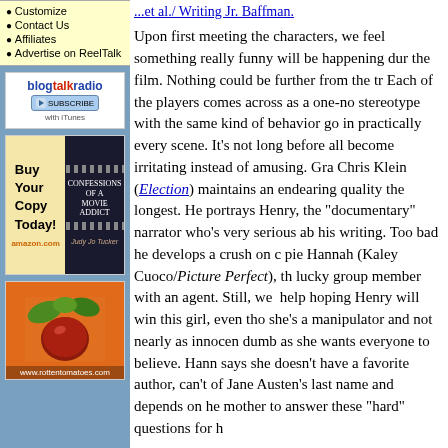Customize
Contact Us
Affiliates
Advertise on ReelTalk
[Figure (logo): BlogTalkRadio Subscribe with iTunes logo]
[Figure (illustration): Buy Your Copy Today - Confessions of a Movie Addict book ad with Amazon link]
[Figure (illustration): RottenTomatoes.com advertisement with tomato image on orange background]
Upon first meeting the characters, we feel something really funny will be happening during the film. Nothing could be further from the truth. Each of the players comes across as a one-note stereotype with the same kind of behavior going on in practically every scene. It's not long before they all become irritating instead of amusing. Grant, Chris Klein (Election) maintains an endearing quality the longest. He portrays Henry, the "documentary" narrator who's very serious about his writing. Too bad he develops a crush on cutie pie Hannah (Kaley Cuoco/Picture Perfect), the lucky group member with an agent. Still, we can't help hoping Henry will win this girl, even though she's a manipulator and not nearly as innocent or dumb as she wants everyone to believe. Hannah says she doesn't have a favorite author, can't think of Jane Austen's last name and depends on her mother to answer these "hard" questions for her.
The other members of the group include: Alan Mooney (Dylan Walsh/The Stepfather), who steers the group to make his snobbish wife Colette (Teri Polo/Meet the Parents) happy; William Bruce...